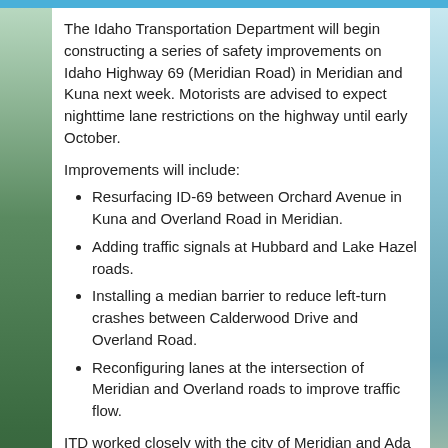The Idaho Transportation Department will begin constructing a series of safety improvements on Idaho Highway 69 (Meridian Road) in Meridian and Kuna next week. Motorists are advised to expect nighttime lane restrictions on the highway until early October.
Improvements will include:
Resurfacing ID-69 between Orchard Avenue in Kuna and Overland Road in Meridian.
Adding traffic signals at Hubbard and Lake Hazel roads.
Installing a median barrier to reduce left-turn crashes between Calderwood Drive and Overland Road.
Reconfiguring lanes at the intersection of Meridian and Overland roads to improve traffic flow.
ITD worked closely with the city of Meridian and Ada County Highway Department to develop the improvements after a recent safety analysis of the corridor. Crashes on ID-69 increased by nearly 50 percent between 2011 and 2016. ITD reached out to businesses earlier this year to discuss plans for this project.
Throughout this project, crews will work from 8 p.m. to 6 a.m. on